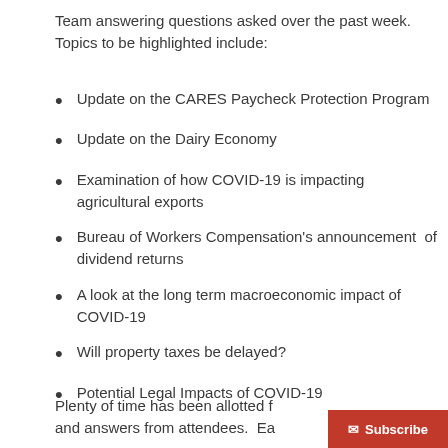Team answering questions asked over the past week.  Topics to be highlighted include:
Update on the CARES Paycheck Protection Program
Update on the Dairy Economy
Examination of how COVID-19 is impacting agricultural exports
Bureau of Workers Compensation's announcement  of dividend returns
A look at the long term macroeconomic impact of COVID-19
Will property taxes be delayed?
Potential Legal Impacts of COVID-19
Plenty of time has been allotted for questions and answers from attendees.  Ea...